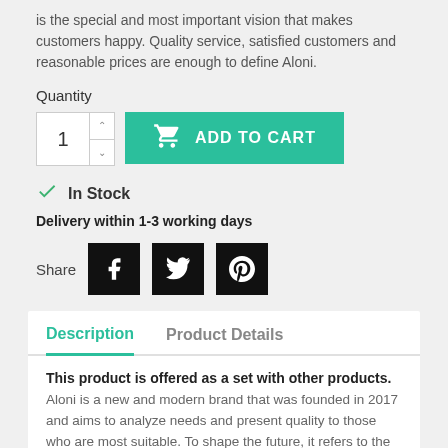is the special and most important vision that makes customers happy. Quality service, satisfied customers and reasonable prices are enough to define Aloni.
Quantity
[Figure (screenshot): Quantity input with up/down arrows and green ADD TO CART button with cart icon]
✓ In Stock
Delivery within 1-3 working days
[Figure (infographic): Share row with Facebook, Twitter, and Pinterest social media icon buttons]
Description
Product Details
This product is offered as a set with other products.
Aloni is a new and modern brand that was founded in 2017 and aims to analyze needs and present quality to those who are most suitable. To shape the future, it refers to the